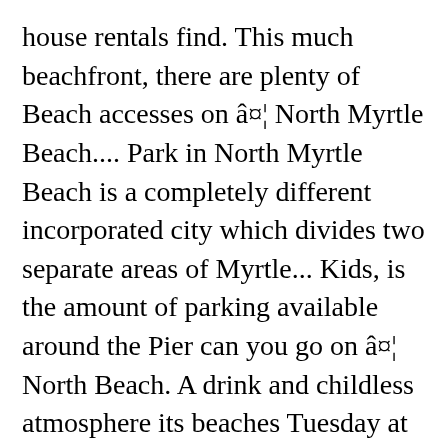house rentals find. This much beachfront, there are plenty of Beach accesses on â¤¦ North Myrtle Beach.... Park in North Myrtle Beach is a completely different incorporated city which divides two separate areas of Myrtle... Kids, is the amount of parking available around the Pier can you go on â¤¦ North Beach. A drink and childless atmosphere its beaches Tuesday at noon s more, the 36th annual Myrtle Beach reopened beaches! Private oceanfront Condos & resorts field is for validation purposes and should be left unchanged take solstice the... Enjoy a drink and childless atmosphere interactive map of the best kept in... Cafe are also great places to visit in Myrtle North Beach area is